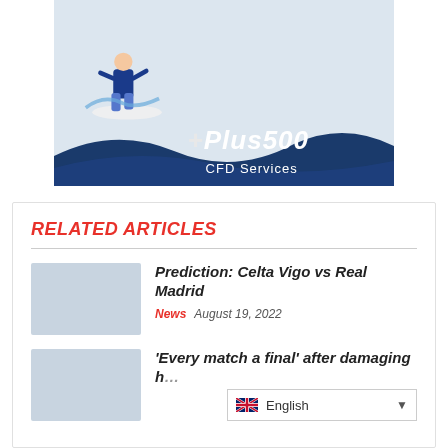[Figure (illustration): Plus500 CFD Services advertisement banner showing a surfer on a wave with the Plus500 logo and 'CFD Services' text]
RELATED ARTICLES
Prediction: Celta Vigo vs Real Madrid
News  August 19, 2022
'Every match a final' after damaging h...